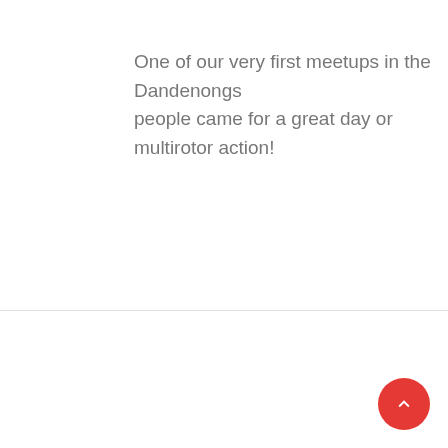One of our very first meetups in the Dandenongs people came for a great day or multirotor action!
This Is Drone Racing by Algy Tynnan.
A video documentary put together by one of our perfectly sums up what it's like for us to fly